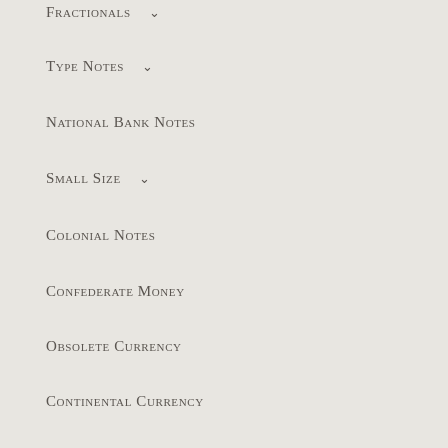Fractionals
Type Notes
National Bank Notes
Small Size
Colonial Notes
Confederate Money
Obsolete Currency
Continental Currency